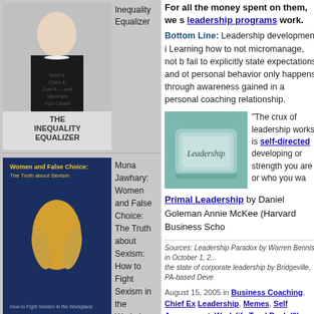[Figure (photo): Book cover: The Inequality Equalizer by a woman in black]
Inequality Equalizer
[Figure (photo): Book cover: Women and False Choice: The Truth about Sexism by Muna Jawhary (PhD)]
Muna Jawhary: Women and False Choice: The Truth about Sexism: How to Fight Sexism in the Workplace
[Figure (photo): Book cover: How Women Decide by Therese Huston]
Therese Huston: How Women Decide: What's True, What's
For all the money spent on them, we s leadership programs work.
Bottom Line: Leadership development i Learning how to not micromanage, not b fail to explicitly state expectations and ot personal behavior only happens through awareness gained in a personal coaching relationship.
[Figure (photo): Photo of a keyboard key labeled Leadership]
“The crux of leadership works is self-directed developing or strength you are or who you wa
Primal Leadership by Daniel Goleman Annie McKee (Harvard Business Scho
Sources: Leadership Paradox by Warren Bennis in October 1, 2... the state of corporate leadership by Bridgeville, PA-based Deve
August 15, 2005 in Business Coaching, Chief Ex Leadership, Memes, Self Assessment, Work life TrackBack (0)
Reblog (0)   Digg This   Save to de